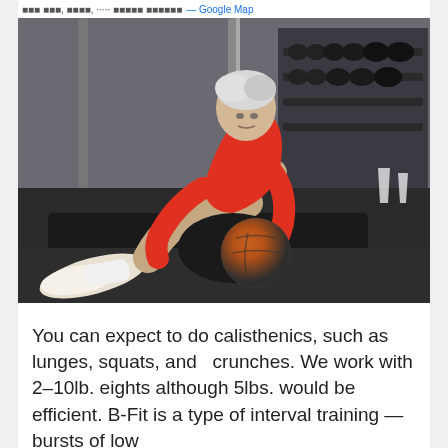— Google Map
[Figure (photo): An older man with white hair wearing a red long-sleeve shirt and black shorts sits on a gym mat doing crunches while holding an orange and grey medicine ball. Gym equipment including dumbbells and weight racks are visible in the background.]
You can expect to do calisthenics, such as lunges, squats, and  crunches. We work with 2–10lb. eights although 5lbs. would be efficient. B-Fit is a type of interval training — bursts of low